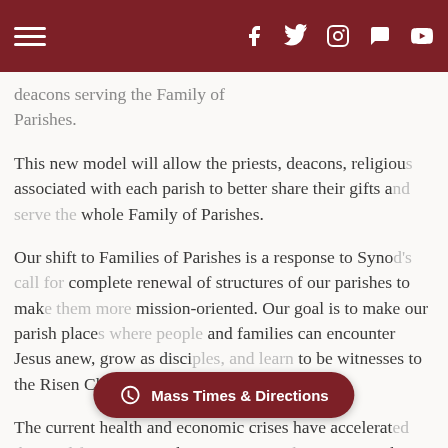Navigation header with hamburger menu and social icons (Facebook, Twitter, Instagram, chat, YouTube)
deacons serving the Family of Parishes.
This new model will allow the priests, deacons, religious associated with each parish to better share their gifts a whole Family of Parishes.
Our shift to Families of Parishes is a response to Synod complete renewal of structures of our parishes to make mission-oriented. Our goal is to make our parish places and families can encounter Jesus anew, grow as disci to be witnesses to the Risen Christ.
The current health and economic crises have accelerat renewing the way our par the already problematic priest shortage, we now have
[Figure (screenshot): Mass Times & Directions button overlay at bottom of page]